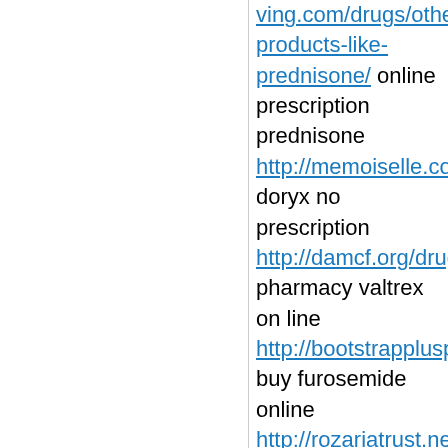ving.com/drugs/other-products-like-prednisone/ online prescription prednisone http://memoiselle.com/item/doryx/ doryx no prescription http://damcf.org/drug/valtrex/ pharmacy valtrex on line http://bootstrapplusplus.com/lasix/ buy furosemide online http://rozariatrust.net/buy-viagra/ buy viagra w not prescription http://thegrizzlygrowler.com/asthalin/ asthalin without dr prescription http://scoverage.org/niz